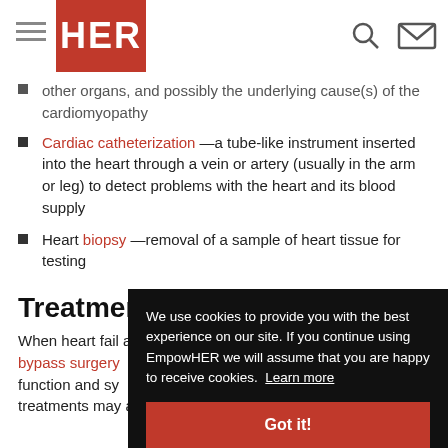HER (logo)
other organs, and possibly the underlying cause(s) of the cardiomyopathy
Cardiac catheterization —a tube-like instrument inserted into the heart through a vein or artery (usually in the arm or leg) to detect problems with the heart and its blood supply
Heart biopsy —removal of a sample of heart tissue for testing
Treatment
When heart fail arteries, treatment through angiop bypass surgery function and sy treatments may also lead to improvements in function. For
We use cookies to provide you with the best experience on our site. If you continue using EmpowHER we will assume that you are happy to receive cookies. Learn more
Got it!